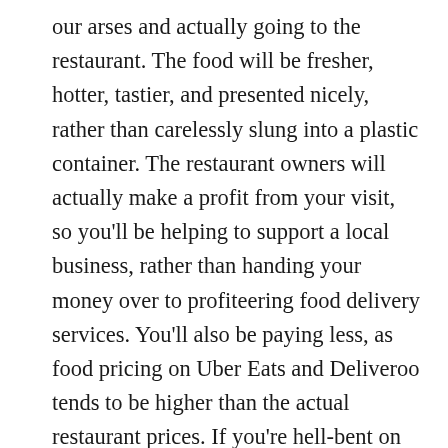our arses and actually going to the restaurant. The food will be fresher, hotter, tastier, and presented nicely, rather than carelessly slung into a plastic container. The restaurant owners will actually make a profit from your visit, so you'll be helping to support a local business, rather than handing your money over to profiteering food delivery services. You'll also be paying less, as food pricing on Uber Eats and Deliveroo tends to be higher than the actual restaurant prices. If you're hell-bent on staying at home, consider visiting the restaurant's website to determine whether they offer their own delivery service. Even better—endeavour to overcome your laziness